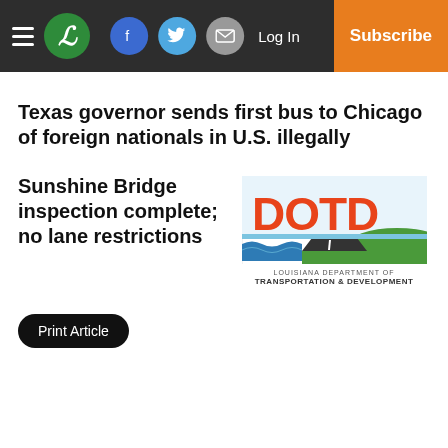Navigation bar with hamburger menu, L logo, Facebook, Twitter, Email social buttons, Log In, Subscribe
Texas governor sends first bus to Chicago of foreign nationals in U.S. illegally
Sunshine Bridge inspection complete; no lane restrictions
[Figure (logo): DOTD Louisiana Department of Transportation & Development logo]
Print Article